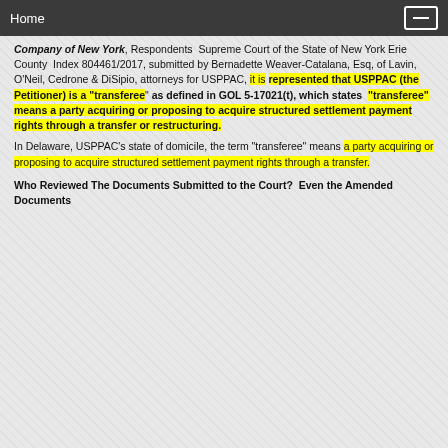Home
Company of New York, Respondents  Supreme Court of the State of New York Erie County  Index 804461/2017, submitted by Bernadette Weaver-Catalana, Esq, of Lavin, O'Neil, Cedrone & DiSipio, attorneys for USPPAC, it is represented that USPPAC (the Petitioner) is a "transferee" as defined in GOL 5-17021(t), which states  "transferee" means a party acquiring or proposing to acquire structured settlement payment rights through a transfer or restructuring.
In Delaware, USPPAC's state of domicile, the term "transferee" means a party acquiring or proposing to acquire structured settlement payment rights through a transfer.
Who Reviewed The Documents Submitted to the Court?  Even the Amended Documents